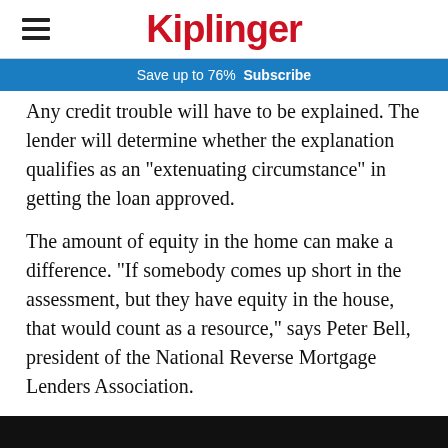Kiplinger
Save up to 76%  Subscribe
Any credit trouble will have to be explained. The lender will determine whether the explanation qualifies as an "extenuating circumstance" in getting the loan approved.
The amount of equity in the home can make a difference. "If somebody comes up short in the assessment, but they have equity in the house, that would count as a resource," says Peter Bell, president of the National Reverse Mortgage Lenders Association.